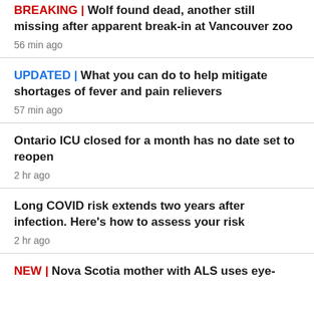BREAKING | Wolf found dead, another still missing after apparent break-in at Vancouver zoo
56 min ago
UPDATED | What you can do to help mitigate shortages of fever and pain relievers
57 min ago
Ontario ICU closed for a month has no date set to reopen
2 hr ago
Long COVID risk extends two years after infection. Here's how to assess your risk
2 hr ago
NEW | Nova Scotia mother with ALS uses eye-